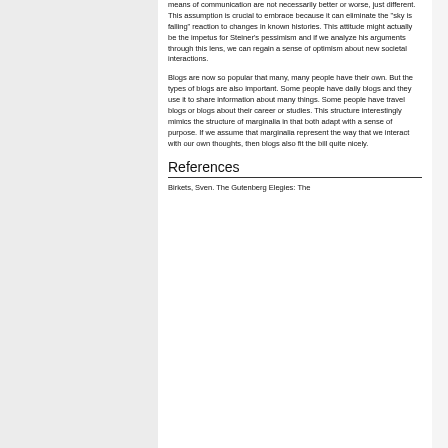means of communication are not necessarily better or worse, just different. This assumption is crucial to embrace because it can eliminate the "sky is falling" reaction to changes in known histories. This attitude might actually be the impetus for Steiner's pessimism and if we analyze his arguments through this lens, we can regain a sense of optimism about new societal interactions.
Blogs are now so popular that many, many people have their own. But the types of blogs are also important. Some people have daily blogs and they use it to share information about many things. Some people have travel blogs or blogs about their career or studies. This structure interestingly mimics the structure of marginalia in that both adapt with a sense of purpose. If we assume that marginalia represent the way that we interact with our own thoughts, then blogs also fit the bill quite nicely.
References
Birkets, Sven. The Gutenberg Elegies: The